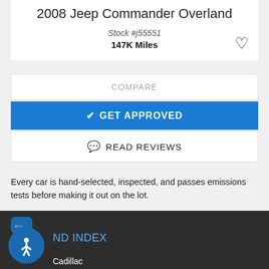2008 Jeep Commander Overland
Stock #j55551
147K Miles
COMPARE
✓ GET APPROVED
💬 READ REVIEWS
Every car is hand-selected, inspected, and passes emissions tests before making it out on the lot.
ND INDEX
Cadillac